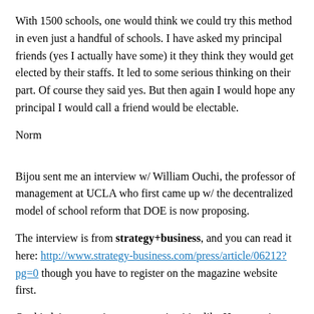With 1500 schools, one would think we could try this method in even just a handful of schools. I have asked my principal friends (yes I actually have some) it they think they would get elected by their staffs. It led to some serious thinking on their part. Of course they said yes. But then again I would hope any principal I would call a friend would be electable.
Norm
Bijou sent me an interview w/ William Ouchi, the professor of management at UCLA who first came up w/ the decentralized model of school reform that DOE is now proposing.
The interview is from strategy+business, and you can read it here: http://www.strategy-business.com/press/article/06212?pg=0 though you have to register on the magazine website first.
Ouchi claims great improvement in cities like Houston since adopting his system, which I don't think has any basis in fact. He even says there were big gains in the NYC empowerment zone schools after one year – which DOE doesn't even claim.